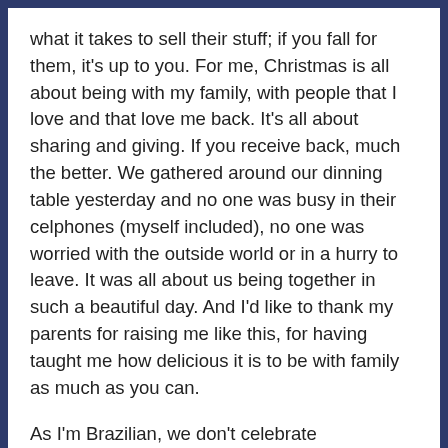what it takes to sell their stuff; if you fall for them, it's up to you. For me, Christmas is all about being with my family, with people that I love and that love me back. It's all about sharing and giving. If you receive back, much the better. We gathered around our dinning table yesterday and no one was busy in their celphones (myself included), no one was worried with the outside world or in a hurry to leave. It was all about us being together in such a beautiful day. And I'd like to thank my parents for raising me like this, for having taught me how delicious it is to be with family as much as you can.
As I'm Brazilian, we don't celebrate Thanksgiving. So, at Christmas time, I thank for all the good things I have in my life: my family, my friends (both off and online), my personal achivements through life, for my dissertation's success and, of course, this blo...